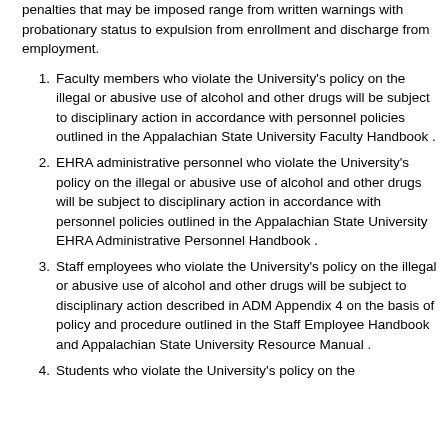penalties that may be imposed range from written warnings with probationary status to expulsion from enrollment and discharge from employment.
Faculty members who violate the University's policy on the illegal or abusive use of alcohol and other drugs will be subject to disciplinary action in accordance with personnel policies outlined in the Appalachian State University Faculty Handbook .
EHRA administrative personnel who violate the University's policy on the illegal or abusive use of alcohol and other drugs will be subject to disciplinary action in accordance with personnel policies outlined in the Appalachian State University EHRA Administrative Personnel Handbook .
Staff employees who violate the University's policy on the illegal or abusive use of alcohol and other drugs will be subject to disciplinary action described in ADM Appendix 4 on the basis of policy and procedure outlined in the Staff Employee Handbook and Appalachian State University Resource Manual .
Students who violate the University's policy on the